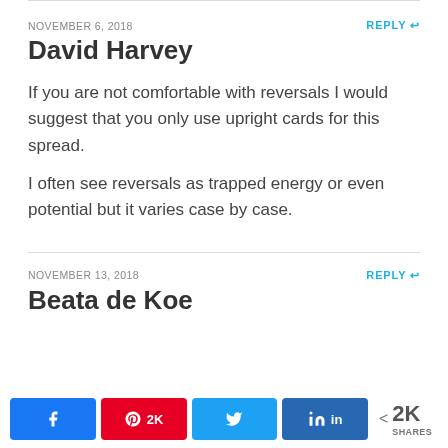NOVEMBER 6, 2018
REPLY
David Harvey
If you are not comfortable with reversals I would suggest that you only use upright cards for this spread.
I often see reversals as trapped energy or even potential but it varies case by case.
NOVEMBER 13, 2018
REPLY
Beata de Koe
2K SHARES